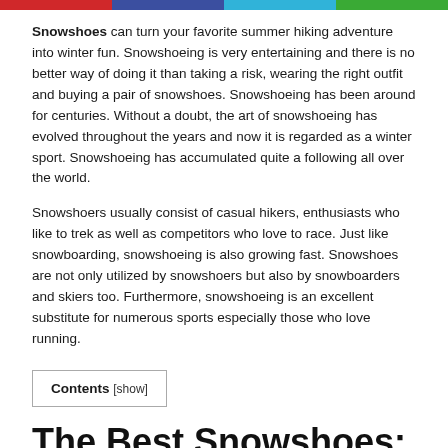[Figure (other): Four-color horizontal bar: red, dark blue, cyan, green]
Snowshoes can turn your favorite summer hiking adventure into winter fun. Snowshoeing is very entertaining and there is no better way of doing it than taking a risk, wearing the right outfit and buying a pair of snowshoes. Snowshoeing has been around for centuries. Without a doubt, the art of snowshoeing has evolved throughout the years and now it is regarded as a winter sport. Snowshoeing has accumulated quite a following all over the world.
Snowshoers usually consist of casual hikers, enthusiasts who like to trek as well as competitors who love to race. Just like snowboarding, snowshoeing is also growing fast. Snowshoes are not only utilized by snowshoers but also by snowboarders and skiers too. Furthermore, snowshoeing is an excellent substitute for numerous sports especially those who love running.
Contents [show]
The Best Snowshoes: Comparison Table